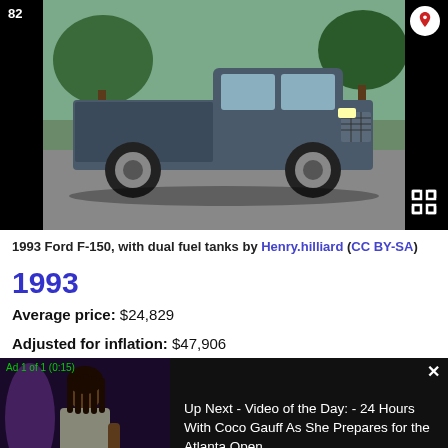[Figure (photo): 1993 Ford F-150 pickup truck parked on a driveway, dark/navy color, with trees in background. Number badge '82' in top left corner, Pinterest icon in top right, expand icon in bottom right.]
1993 Ford F-150, with dual fuel tanks by Henry.hilliard (CC BY-SA)
1993
Average price: $24,829
Adjusted for inflation: $47,906
[Figure (screenshot): Video advertisement overlay. 'Ad 1 of 1 (0:15)' label in green top left. Close X button top right. Left half shows a person standing. Right half shows text: 'Up Next - Video of the Day: - 24 Hours With Coco Gauff As She Prepares for the Atlanta Open']
[Figure (photo): Partial view of a light-colored sedan car (possibly early 90s), number badge '82' in top left, Pinterest icon in top right (red circle).]